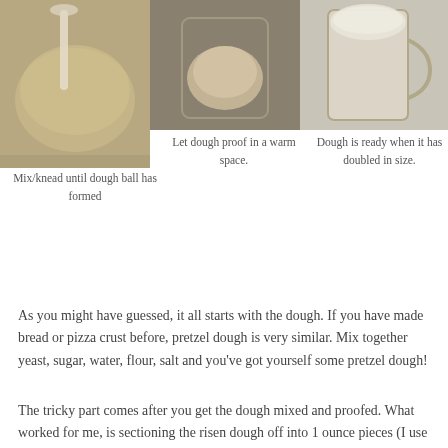[Figure (photo): Three photos in a row showing bread/pretzel dough preparation: left photo shows mixing/kneading dough in a bowl, center photo shows a dough ball, right photo shows dough in a glass proofing vessel.]
Mix/knead until dough ball has formed
Let dough proof in a warm space.
Dough is ready when it has doubled in size.
As you might have guessed, it all starts with the dough. If you have made bread or pizza crust before, pretzel dough is very similar. Mix together yeast, sugar, water, flour, salt and you've got yourself some pretzel dough!
The tricky part comes after you get the dough mixed and proofed. What worked for me, is sectioning the risen dough off into 1 ounce pieces (I use a kitchen scale to get them all around 1 ounce). I then flattened the dough into a disk and